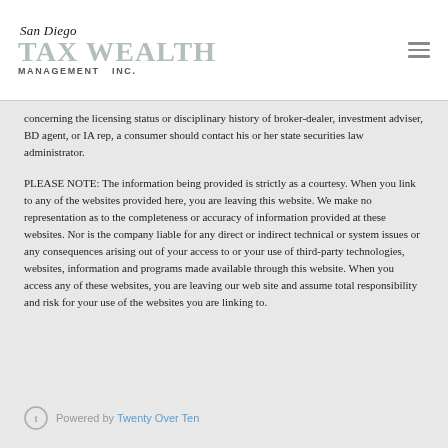[Figure (logo): San Diego Tax Wealth Management Inc. logo with hamburger menu icon]
concerning the licensing status or disciplinary history of broker-dealer, investment adviser, BD agent, or IA rep, a consumer should contact his or her state securities law administrator.
PLEASE NOTE: The information being provided is strictly as a courtesy. When you link to any of the websites provided here, you are leaving this website. We make no representation as to the completeness or accuracy of information provided at these websites. Nor is the company liable for any direct or indirect technical or system issues or any consequences arising out of your access to or your use of third-party technologies, websites, information and programs made available through this website. When you access any of these websites, you are leaving our web site and assume total responsibility and risk for your use of the websites you are linking to.
Powered by Twenty Over Ten